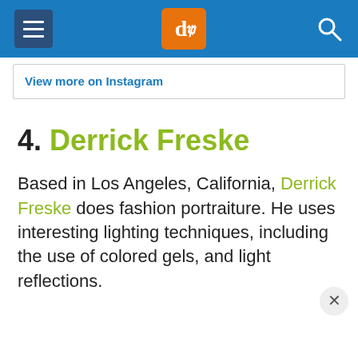dPS navigation header with hamburger menu, dPS logo, and search icon
View more on Instagram
4. Derrick Freske
Based in Los Angeles, California, Derrick Freske does fashion portraiture. He uses interesting lighting techniques, including the use of colored gels, and light reflections.